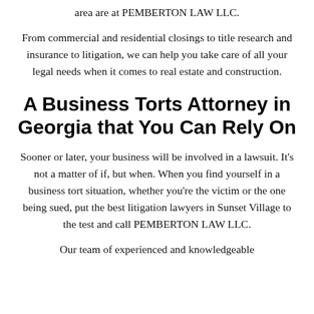area are at PEMBERTON LAW LLC.
From commercial and residential closings to title research and insurance to litigation, we can help you take care of all your legal needs when it comes to real estate and construction.
A Business Torts Attorney in Georgia that You Can Rely On
Sooner or later, your business will be involved in a lawsuit. It’s not a matter of if, but when. When you find yourself in a business tort situation, whether you’re the victim or the one being sued, put the best litigation lawyers in Sunset Village to the test and call PEMBERTON LAW LLC.
Our team of experienced and knowledgeable